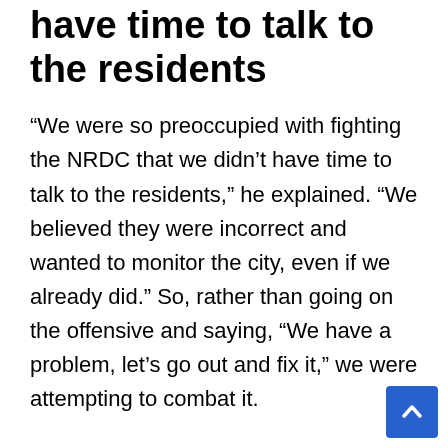have time to talk to the residents
“We were so preoccupied with fighting the NRDC that we didn’t have time to talk to the residents,” he explained. “We believed they were incorrect and wanted to monitor the city, even if we already did.” So, rather than going on the offensive and saying, “We have a problem, let’s go out and fix it,” we were attempting to combat it.
For some, praise for Newark’s achievements must be viewed in context. Yvette Jordan, a teacher and chairwoman of the Newark Education Workers Caucus, which joined the resources council’s complaint, said it was no coincidence that many of the city’s moves